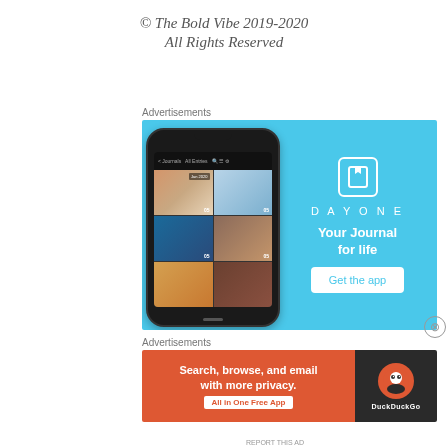© The Bold Vibe 2019-2020
All Rights Reserved
Advertisements
[Figure (screenshot): DayOne app advertisement with light blue background, showing a phone screenshot of the DayOne journal app on the left, and the DayOne logo/branding on the right with tagline 'Your Journal for life' and a 'Get the app' button]
Advertisements
[Figure (screenshot): DuckDuckGo app advertisement with orange background showing text 'Search, browse, and email with more privacy. All in One Free App' and DuckDuckGo logo on dark background on the right]